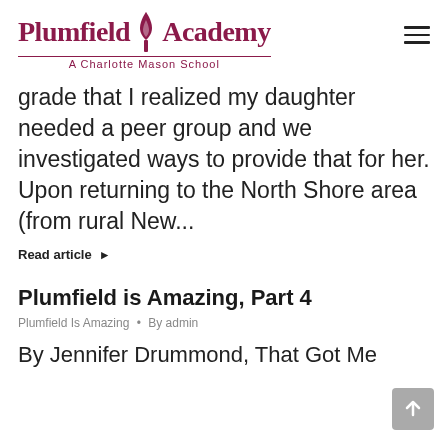[Figure (logo): Plumfield Academy logo with flame icon and subtitle 'A Charlotte Mason School']
grade that I realized my daughter needed a peer group and we investigated ways to provide that for her. Upon returning to the North Shore area (from rural New...
Read article ▶
Plumfield is Amazing, Part 4
Plumfield Is Amazing • By admin
By Jennifer Drummond, That Got Me